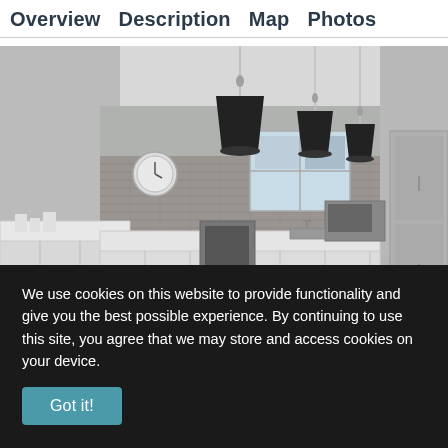Overview   Description   Map   Photos
[Figure (photo): Interior kitchen photo showing modern kitchen with three black pendant lights hanging from ceiling, wood-topped island in foreground, white cabinetry with stone tile backsplash, stainless steel refrigerator on right, wall clock, window above sink, and various kitchen appliances.]
We use cookies on this website to provide functionality and give you the best possible experience. By continuing to use this site, you agree that we may store and access cookies on your device.
Got it!